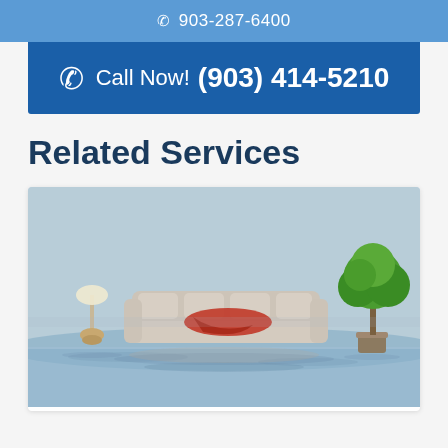903-287-6400
Call Now! (903) 414-5210
Related Services
[Figure (photo): Flooded living room with a sofa, red blanket, floor lamp, and a potted tree partially submerged in water]